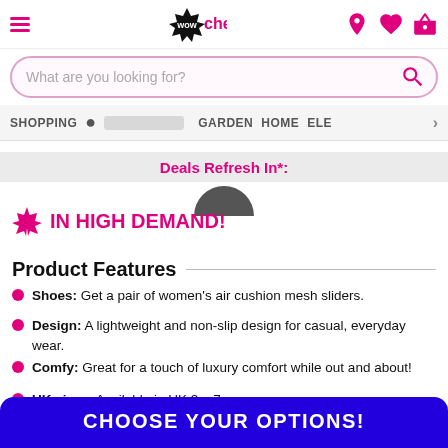Wowcher header navigation with logo, search bar, and nav items: SHOPPING, GARDEN, HOME, ELE...
Deals Refresh In*:
IN HIGH DEMAND!
Product Features
Shoes: Get a pair of women's air cushion mesh sliders.
Design: A lightweight and non-slip design for casual, everyday wear.
Comfy: Great for a touch of luxury comfort while out and about!
UK sizes: Available in UK 3 - 7
CHOOSE YOUR OPTIONS!